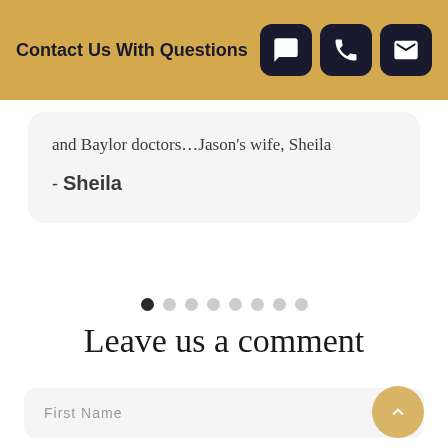Contact Us With Questions
and Baylor doctors...Jason's wife, Sheila
- Sheila
[Figure (other): Carousel pagination dots — 8 dots, first one dark/active, rest light grey]
Leave us a comment
First Name